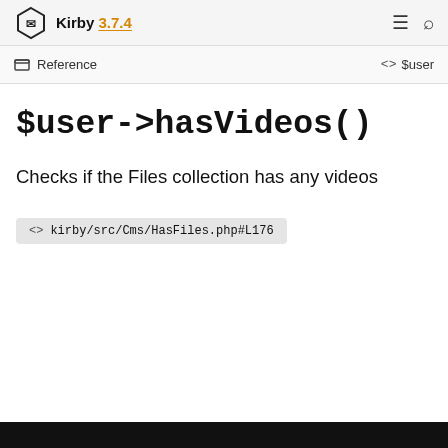Kirby 3.7.4
Reference  $user
$user->hasVideos()
Checks if the Files collection has any videos
kirby/src/Cms/HasFiles.php#L176